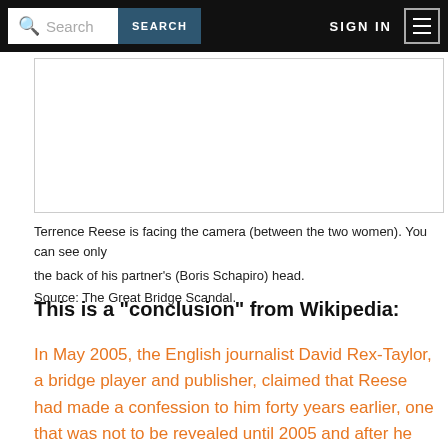Search | SEARCH | SIGN IN | Menu
[Figure (photo): Placeholder image area showing a photograph related to Terrence Reese and Boris Schapiro]
Terrence Reese is facing the camera (between the two women). You can see only the back of his partner's (Boris Schapiro) head.
Source: The Great Bridge Scandal.
This is a "conclusion" from Wikipedia:
In May 2005, the English journalist David Rex-Taylor, a bridge player and publisher, claimed that Reese had made a confession to him forty years earlier, one that was not to be revealed until 2005 and after he and Schapiro were dead. The purported confession